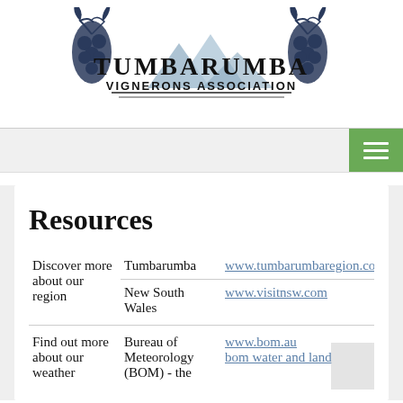[Figure (logo): Tumbarumba Vignerons Association logo with illustrated grapes, mountains, and decorative border. Text reads TUMBARUMBA VIGNERONS ASSOCIATION.]
|  |  |  |
| --- | --- | --- |
| Discover more about our region | Tumbarumba | www.tumbarambaregion.com.a... |
|  | New South Wales | www.visitnsw.com |
| Find out more about our weather | Bureau of Meteorology (BOM) - the | www.bom.au bom water and land |